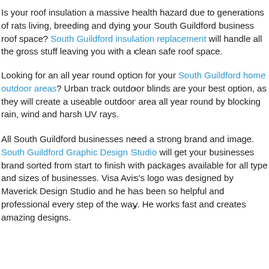Is your roof insulation a massive health hazard due to generations of rats living, breeding and dying your South Guildford business roof space? South Guildford insulation replacement will handle all the gross stuff leaving you with a clean safe roof space.
Looking for an all year round option for your South Guildford home outdoor areas? Urban track outdoor blinds are your best option, as they will create a useable outdoor area all year round by blocking rain, wind and harsh UV rays.
All South Guildford businesses need a strong brand and image. South Guildford Graphic Design Studio will get your businesses brand sorted from start to finish with packages available for all type and sizes of businesses. Visa Avis's logo was designed by Maverick Design Studio and he has been so helpful and professional every step of the way. He works fast and creates amazing designs.